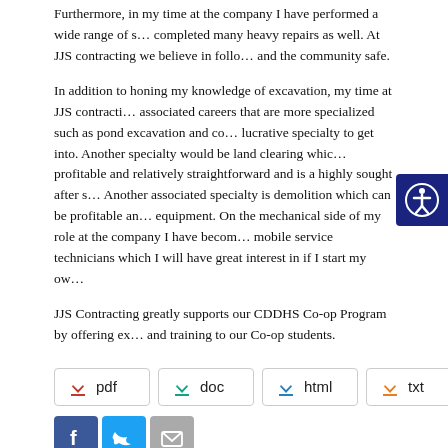Furthermore, in my time at the company I have performed a wide range of services and completed many heavy repairs as well. At JJS contracting we believe in following rules to keep and the community safe.
In addition to honing my knowledge of excavation, my time at JJS contracting has shown me associated careers that are more specialized such as pond excavation and construction which is a lucrative specialty to get into. Another specialty would be land clearing which is also quite profitable and relatively straightforward and is a highly sought after service in many areas. Another associated specialty is demolition which can be profitable and requires purpose-built equipment. On the mechanical side of my role at the company I have become familiar with mobile service technicians which I will have great interest in if I start my own company.
JJS Contracting greatly supports our CDDHS Co-op Program by offering extensive experience and training to our Co-op students.
[Figure (other): Download buttons for pdf, doc, html, txt formats]
[Figure (other): Small social media sharing buttons: Facebook, Twitter, Email]
Share this:
[Figure (other): Large round social sharing buttons: Twitter (cyan) and Facebook (blue)]